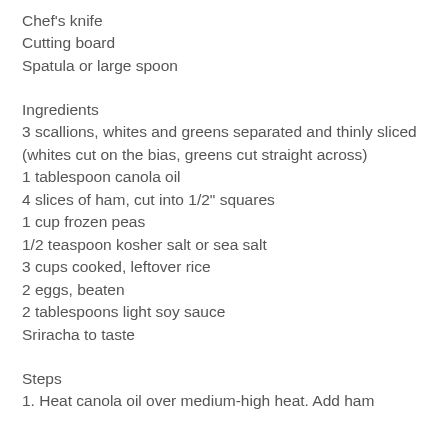Chef's knife
Cutting board
Spatula or large spoon
Ingredients
3 scallions, whites and greens separated and thinly sliced (whites cut on the bias, greens cut straight across)
1 tablespoon canola oil
4 slices of ham, cut into 1/2" squares
1 cup frozen peas
1/2 teaspoon kosher salt or sea salt
3 cups cooked, leftover rice
2 eggs, beaten
2 tablespoons light soy sauce
Sriracha to taste
Steps
1. Heat canola oil over medium-high heat. Add ham